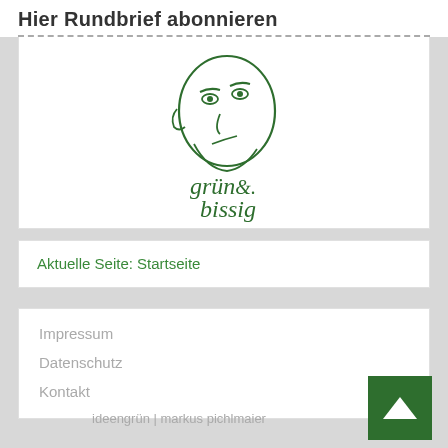Hier Rundbrief abonnieren
[Figure (logo): grün & bissig logo with illustrated face looking upward and green text 'grün & bissig']
Aktuelle Seite: Startseite
Impressum
Datenschutz
Kontakt
ideengrün | markus pichlmaier